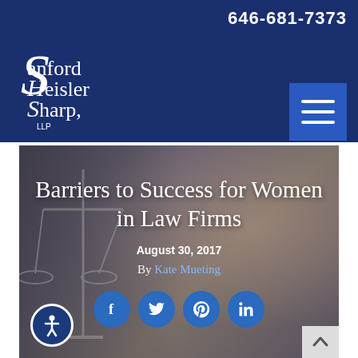646-681-7373
[Figure (logo): Sanford Heisler Sharp, LLP law firm logo — white stylized SHS letters with serif text on dark navy background]
[Figure (other): Hamburger menu icon button (three horizontal white lines on blue square background)]
[Figure (photo): Background hero image showing scales of justice and a person in business attire, blurred/darkened. Overlaid with article title, date, author, and social share icons.]
Barriers to Success for Women in Law Firms
August 30, 2017
By Kate Mueting